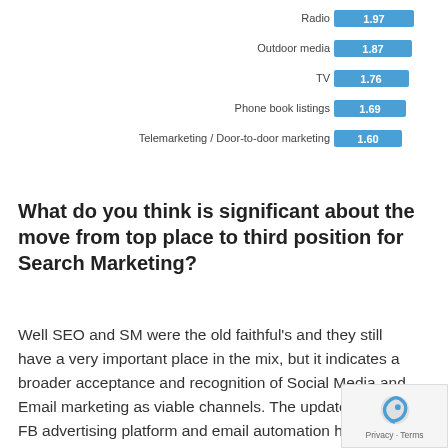[Figure (bar-chart): Advertising channel ratings]
What do you think is significant about the move from top place to third position for Search Marketing?
Well SEO and SM were the old faithful’s and they still have a very important place in the mix, but it indicates a broader acceptance and recognition of Social Media and Email marketing as viable channels. The updates in the FB advertising platform and email automation have likely had a big hand in the jump.